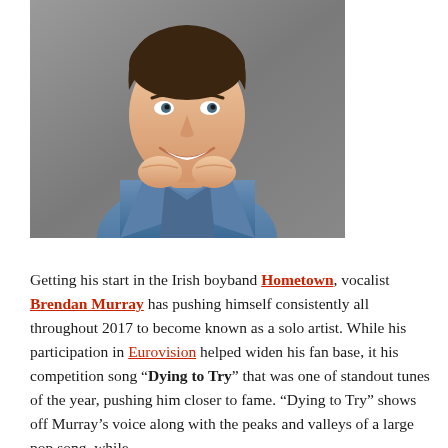[Figure (photo): A young man with dark hair, smiling, wearing a blue denim jacket, with his hands clasped under his chin. Professional headshot style photo against a grey background.]
Getting his start in the Irish boyband Hometown, vocalist Brendan Murray has pushing himself consistently all throughout 2017 to become known as a solo artist. While his participation in Eurovision helped widen his fan base, it his competition song "Dying to Try" that was one of standout tunes of the year, pushing him closer to fame. "Dying to Try" shows off Murray's voice along with the peaks and valleys of a large pop song, while